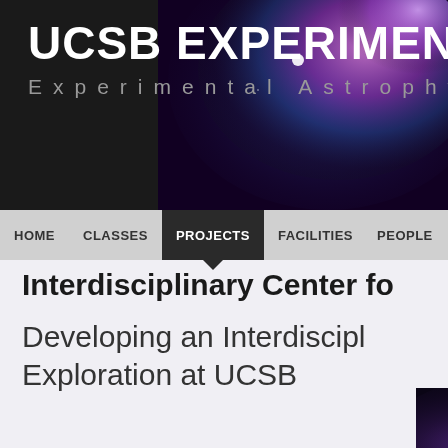UCSB Experimental Cos
Experimental Astrophysics
HOME  CLASSES  PROJECTS  FACILITIES  PEOPLE
Interdisciplinary Center fo
Developing an Interdiscipl
Exploration at UCSB
[Figure (logo): ic interstellar Center logo with space background imagery]